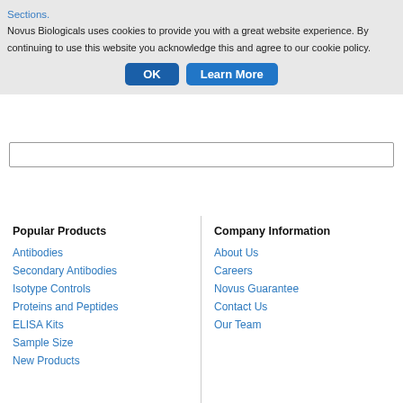Novus Biologicals uses cookies to provide you with a great website experience. By continuing to use this website you acknowledge this and agree to our cookie policy.
OK
Learn More
Popular Products
Antibodies
Secondary Antibodies
Isotype Controls
Proteins and Peptides
ELISA Kits
Sample Size
New Products
Company Information
About Us
Careers
Novus Guarantee
Contact Us
Our Team